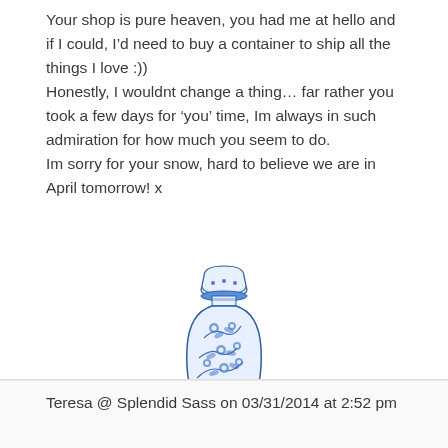Your shop is pure heaven, you had me at hello and if I could, I’d need to buy a container to ship all the things I love :)) Honestly, I wouldnt change a thing… far rather you took a few days for ‘you’ time, Im always in such admiration for how much you seem to do. Im sorry for your snow, hard to believe we are in April tomorrow! x
[Figure (illustration): Blue and white Chinese-style decorative ginger jar / vase illustration]
Teresa @ Splendid Sass on 03/31/2014 at 2:52 pm